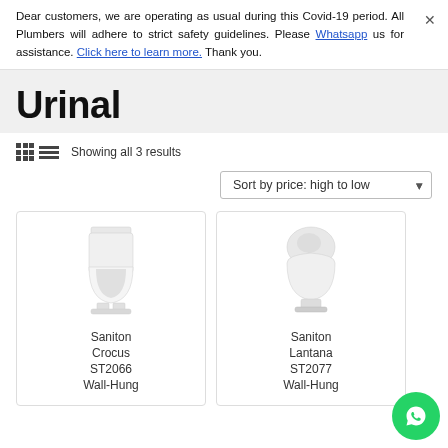Dear customers, we are operating as usual during this Covid-19 period. All Plumbers will adhere to strict safety guidelines. Please Whatsapp us for assistance. Click here to learn more. Thank you.
Urinal
Showing all 3 results
Sort by price: high to low
[Figure (photo): Saniton Crocus ST2066 Wall-Hung urinal product photo]
Saniton
Crocus
ST2066
Wall-Hung
[Figure (photo): Saniton Lantana ST2077 Wall-Hung urinal product photo]
Saniton
Lantana
ST2077
Wall-Hung